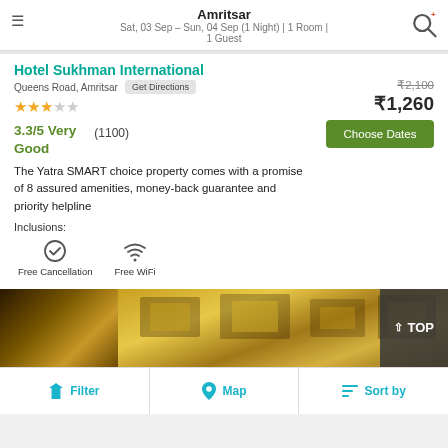Amritsar
Sat, 03 Sep – Sun, 04 Sep (1 Night) | 1 Room | 1 Guest
Hotel Sukhman International
Queens Road, Amritsar  Get Directions
★★★☆☆
₹2,100  ₹1,260
Choose Dates
3.3/5 Very Good
(1100)
The Yatra SMART choice property comes with a promise of 8 assured amenities, money-back guarantee and priority helpline
Inclusions:
Free Cancellation
Free WiFi
[Figure (photo): Hotel interior ceiling with decorative lighting]
⇧ TOP
Filter   Map   Sort by